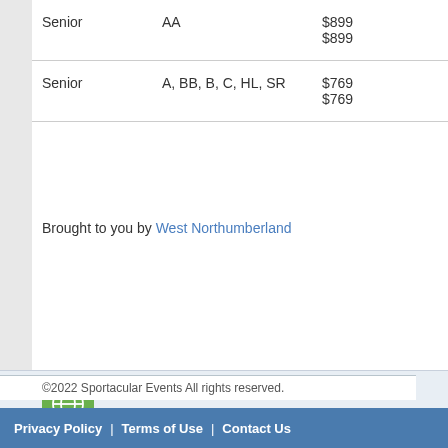| Type | Division | Price |
| --- | --- | --- |
| Senior | AA | $899
$899 |
| Senior | A, BB, B, C, HL, SR | $769
$769 |
Brought to you by West Northumberland
[Figure (logo): Green globe icon logo]
Events
Current Events
Past Events
Browse by Month
F.A.Q.
News
Latest News
Browse by Category
Browse by Month
Store
Latest
Disc
How
Ship
©2022 Sportacular Events All rights reserved.
Privacy Policy | Terms of Use | Contact Us